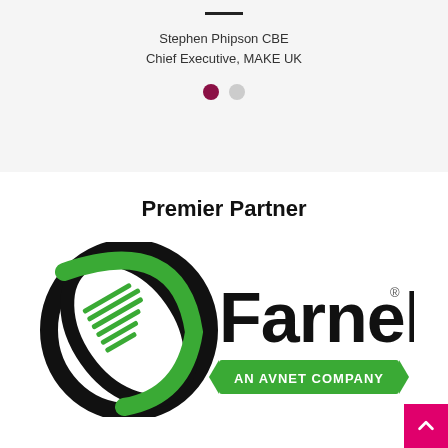Stephen Phipson CBE
Chief Executive, MAKE UK
[Figure (infographic): Two pagination dots: one active (dark red/crimson) and one inactive (light grey)]
Premier Partner
[Figure (logo): Farnell logo with green swirl/globe icon on the left and 'Farnell' text on the right with 'AN AVNET COMPANY' in a green banner below]